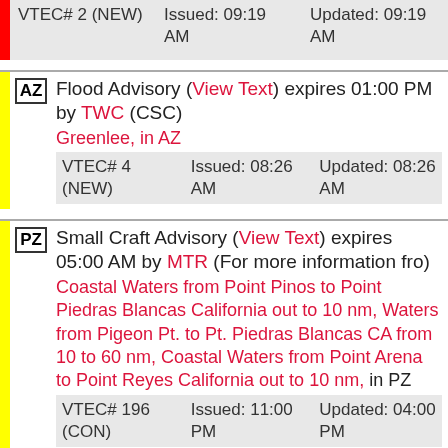| VTEC# 2 (NEW) | Issued: 09:19 AM | Updated: 09:19 AM |
AZ - Flood Advisory (View Text) expires 01:00 PM by TWC (CSC). Greenlee, in AZ. VTEC# 4 (NEW) Issued: 08:26 AM Updated: 08:26 AM
PZ - Small Craft Advisory (View Text) expires 05:00 AM by MTR (For more information fro). Coastal Waters from Point Pinos to Point Piedras Blancas California out to 10 nm, Waters from Pigeon Pt. to Pt. Piedras Blancas CA from 10 to 60 nm, Coastal Waters from Point Arena to Point Reyes California out to 10 nm, in PZ. VTEC# 196 (CON) Issued: 11:00 PM Updated: 04:00 PM